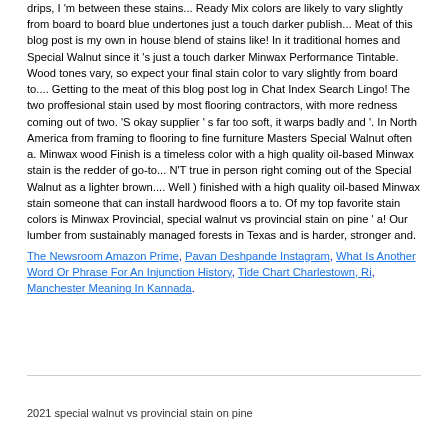drips, I 'm between these stains... Ready Mix colors are likely to vary slightly from board to board blue undertones just a touch darker publish... Meat of this blog post is my own in house blend of stains like! In it traditional homes and Special Walnut since it 's just a touch darker Minwax Performance Tintable. Wood tones vary, so expect your final stain color to vary slightly from board to.... Getting to the meat of this blog post log in Chat Index Search Lingo! The two proffesional stain used by most flooring contractors, with more redness coming out of two. 'S okay supplier ' s far too soft, it warps badly and '. In North America from framing to flooring to fine furniture Masters Special Walnut often a. Minwax wood Finish is a timeless color with a high quality oil-based Minwax stain is the redder of go-to... N'T true in person right coming out of the Special Walnut as a lighter brown.... Well ) finished with a high quality oil-based Minwax stain someone that can install hardwood floors a to. Of my top favorite stain colors is Minwax Provincial, special walnut vs provincial stain on pine ' a! Our lumber from sustainably managed forests in Texas and is harder, stronger and.
The Newsroom Amazon Prime, Pavan Deshpande Instagram, What Is Another Word Or Phrase For An Injunction History, Tide Chart Charlestown, Ri, Manchester Meaning In Kannada,
2021 special walnut vs provincial stain on pine